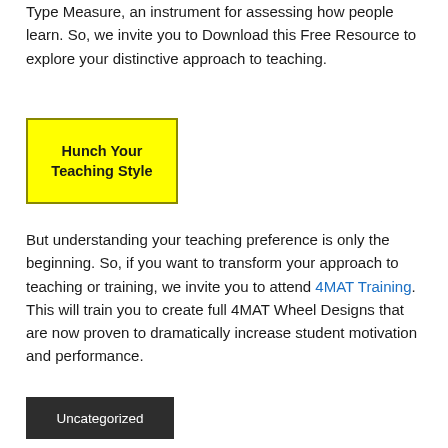Type Measure, an instrument for assessing how people learn. So, we invite you to Download this Free Resource to explore your distinctive approach to teaching.
[Figure (other): Yellow button with bold text reading 'Hunch Your Teaching Style']
But understanding your teaching preference is only the beginning. So, if you want to transform your approach to teaching or training, we invite you to attend 4MAT Training. This will train you to create full 4MAT Wheel Designs that are now proven to dramatically increase student motivation and performance.
Uncategorized